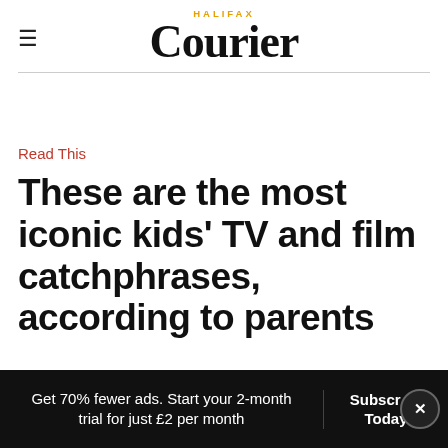HALIFAX Courier
Read This
These are the most iconic kids' TV and film catchphrases, according to parents
Get 70% fewer ads. Start your 2-month trial for just £2 per month
Subscribe Today